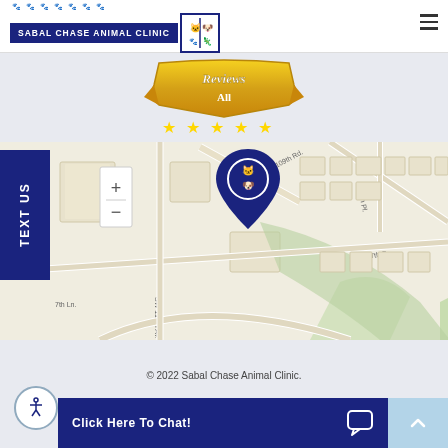SABAL CHASE ANIMAL CLINIC
[Figure (illustration): Gold badge with 'Reviews All' text and five yellow stars below it]
[Figure (map): Google Maps style street map showing location of Sabal Chase Animal Clinic with a dark blue map pin, showing streets including SW 117th Ave, SW 109th Rd, SW 107th S, and 7th Ln]
© 2022 Sabal Chase Animal Clinic.
Click Here To Chat!